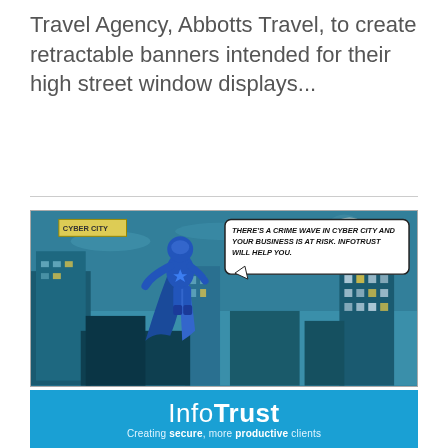Travel Agency, Abbotts Travel, to create retractable banners intended for their high street window displays...
[Figure (illustration): Comic-style illustration of a superhero in blue costume flying over a dark city skyline at night. A speech bubble reads: 'THERE'S A CRIME WAVE IN CYBER CITY AND YOUR BUSINESS IS AT RISK. INFOTRUST WILL HELP YOU.' A yellow location label reads 'CYBER CITY' in the top left corner.]
[Figure (logo): InfoTrust logo on blue background with tagline 'Creating secure, more productive clients']